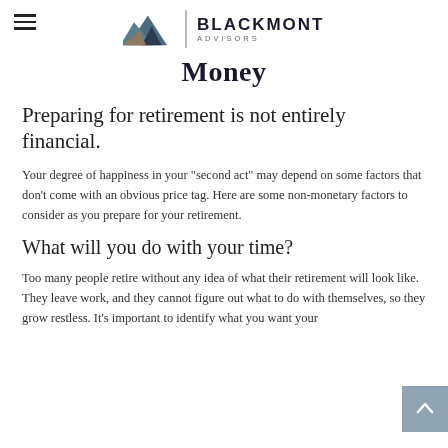BLACKMONT ADVISORS
Money
Preparing for retirement is not entirely financial.
Your degree of happiness in your "second act" may depend on some factors that don't come with an obvious price tag. Here are some non-monetary factors to consider as you prepare for your retirement.
What will you do with your time?
Too many people retire without any idea of what their retirement will look like. They leave work, and they cannot figure out what to do with themselves, so they grow restless. It's important to identify what you want your